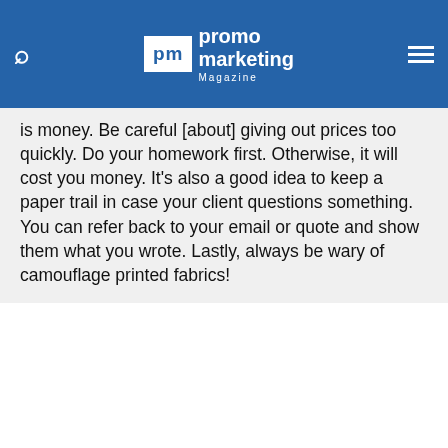promo marketing Magazine
is money. Be careful [about] giving out prices too quickly. Do your homework first. Otherwise, it will cost you money. It's also a good idea to keep a paper trail in case your client questions something. You can refer back to your email or quote and show them what you wrote. Lastly, always be wary of camouflage printed fabrics!
For details on how to participate in a future edition
This site uses cookies for tracking purposes. By continuing to browse our website, you agree to the storing of first- and third-party cookies on your device to enhance site navigation, analyze site usage, and assist in our marketing and
Accept and Close ✕
Your browser settings do not allow cross-site tracking for advertising. Click on this page to allow AdRoll to use cross-site tracking to tailor ads to you. Learn more or opt out of this AdRoll tracking by clicking here. This message only appears once.
Use | Close